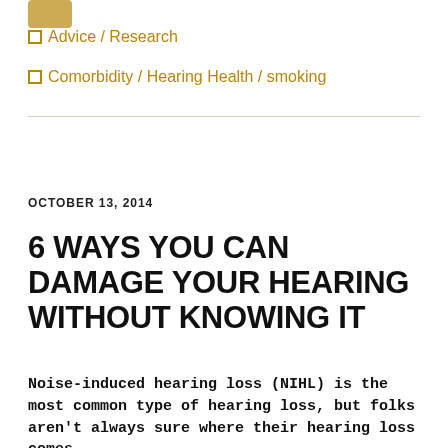Advice / Research
Comorbidity / Hearing Health / smoking
OCTOBER 13, 2014
6 WAYS YOU CAN DAMAGE YOUR HEARING WITHOUT KNOWING IT
Noise-induced hearing loss (NIHL) is the most common type of hearing loss, but folks aren't always sure where their hearing loss comes